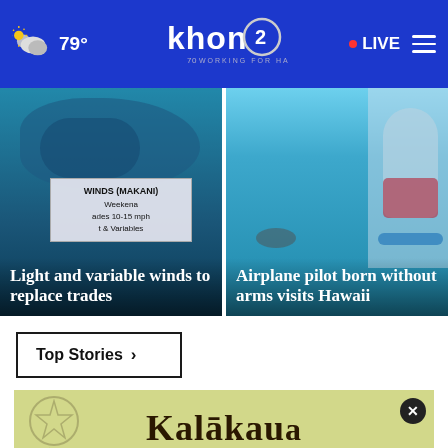79° KHON2 Working for Hawaii LIVE
[Figure (photo): Weather/wind forecast graphic showing light and variable winds replacing trades]
[Figure (photo): Person on paddleboard in Hawaii ocean water]
Light and variable winds to replace trades
Airplane pilot born without arms visits Hawaii
Top Stories ›
[Figure (screenshot): Kalākaua advertisement banner with close button]
directions, or call your salon!
Walk-Ins Available